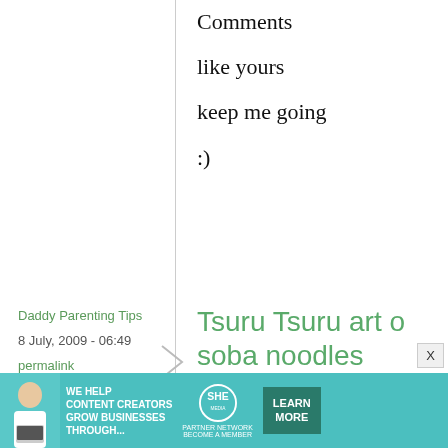Comments like yours keep me going :)
Daddy Parenting Tips
8 July, 2009 - 06:49
permalink
Tsuru Tsuru art of soba noodles
Liked your blog. Even slurping of the whole ritual of experienc with all senses.
[Figure (infographic): Advertisement banner: WE HELP CONTENT CREATORS GROW BUSINESSES THROUGH... SHE Partner Network logo with LEARN MORE button]